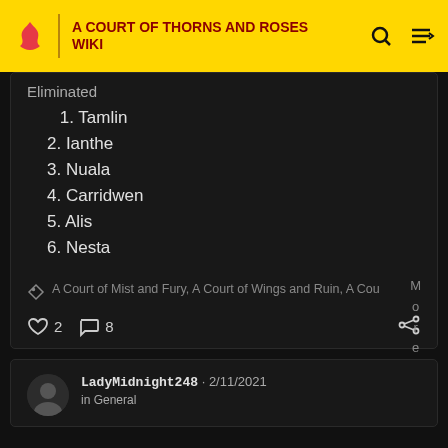A COURT OF THORNS AND ROSES WIKI
Eliminated
1. Tamlin
2. Ianthe
3. Nuala
4. Carridwen
5. Alis
6. Nesta
A Court of Mist and Fury, A Court of Wings and Ruin, A Cour
♡ 2  ♡ 8
LadyMidnight248 · 2/11/2021 in General